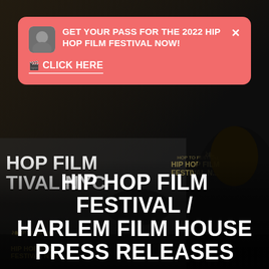[Figure (photo): Dark background photo from Hip Hop Film Festival NYC event — a person partially visible on right side, festival step-and-repeat banner with gold laurel wreath logos visible on left showing 'HOP FILM TIVAL NYC' and 'HIP HOP FILM FESTIVAL NYC' text in gold and white on dark background]
GET YOUR PASS FOR THE 2022 HIP HOP FILM FESTIVAL NOW!
🎬 CLICK HERE
HIP HOP FILM FESTIVAL / HARLEM FILM HOUSE PRESS RELEASES